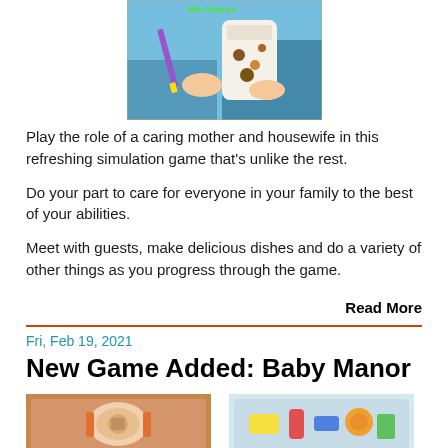[Figure (screenshot): Screenshot of a game showing hands holding a milk bottle with text 'Milk Obseme' in green, colorful game UI background]
Play the role of a caring mother and housewife in this refreshing simulation game that’s unlike the rest.
Do your part to care for everyone in your family to the best of your abilities.
Meet with guests, make delicious dishes and do a variety of other things as you progress through the game.
Read More
Fri, Feb 19, 2021
New Game Added: Baby Manor
[Figure (screenshot): Screenshot of Baby Manor game showing a toy/baby item on brown background]
[Figure (screenshot): Screenshot of Baby Manor game showing colorful baby items]